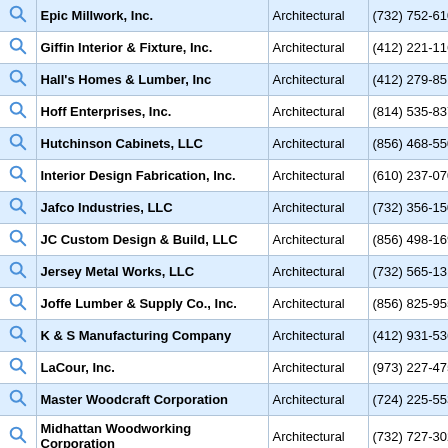|  | Company | Type | Phone |
| --- | --- | --- | --- |
|  | Epic Millwork, Inc. | Architectural | (732) 752-610 |
|  | Giffin Interior & Fixture, Inc. | Architectural | (412) 221-116 |
|  | Hall's Homes & Lumber, Inc | Architectural | (412) 279-851 |
|  | Hoff Enterprises, Inc. | Architectural | (814) 535-837 |
|  | Hutchinson Cabinets, LLC | Architectural | (856) 468-550 |
|  | Interior Design Fabrication, Inc. | Architectural | (610) 237-070 |
|  | Jafco Industries, LLC | Architectural | (732) 356-150 |
|  | JC Custom Design & Build, LLC | Architectural | (856) 498-169 |
|  | Jersey Metal Works, LLC | Architectural | (732) 565-131 |
|  | Joffe Lumber & Supply Co., Inc. | Architectural | (856) 825-955 |
|  | K & S Manufacturing Company | Architectural | (412) 931-536 |
|  | LaCour, Inc. | Architectural | (973) 227-475 |
|  | Master Woodcraft Corporation | Architectural | (724) 225-553 |
|  | Midhattan Woodworking Corporation | Architectural | (732) 727-302 |
|  | Mile High Contracting, Inc. | Architectural | (412) 379-900 |
|  | Neshaminy Valley Millwork | Architectural | (215) 604-025 |